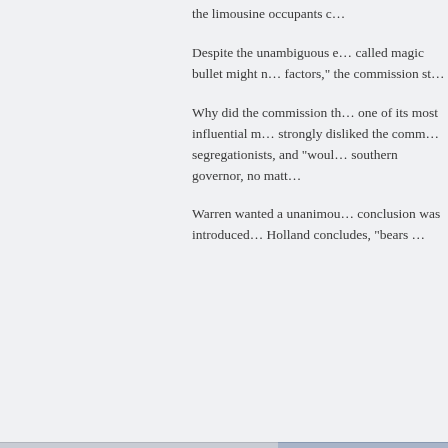the limousine occupants c...
Despite the unambiguous e... called magic bullet might n... factors," the commission st...
Why did the commission th... one of its most influential m... strongly disliked the comm... segregationists, and "woul... southern governor, no matt...
Warren wanted a unanimou... conclusion was introduced... Holland concludes, "bears ...